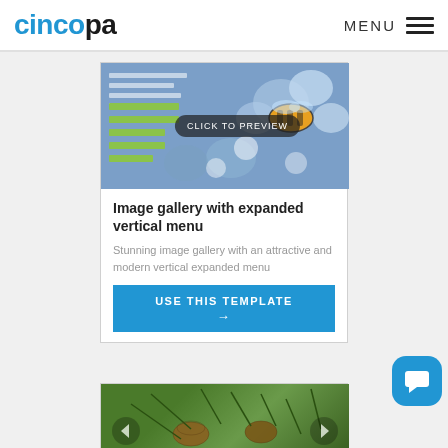cincopa  MENU
[Figure (screenshot): Image gallery preview with bee on flowers, green bars on left side, grey lines at top, and 'CLICK TO PREVIEW' overlay button]
Image gallery with expanded vertical menu
Stunning image gallery with an attractive and modern vertical expanded menu
USE THIS TEMPLATE →
[Figure (photo): Partially visible image of pine cones on a green conifer branch]